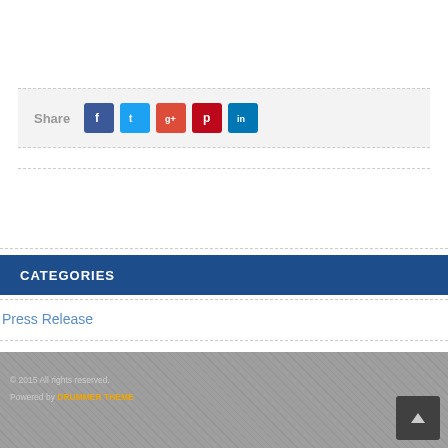Share
[Figure (infographic): Social media share icons: Facebook (blue), Twitter (cyan), Google+ (red-orange), Pinterest (red), LinkedIn (dark blue)]
CATEGORIES
Press Release
© 2015 All rights reserved. Powered by Drummer Theme